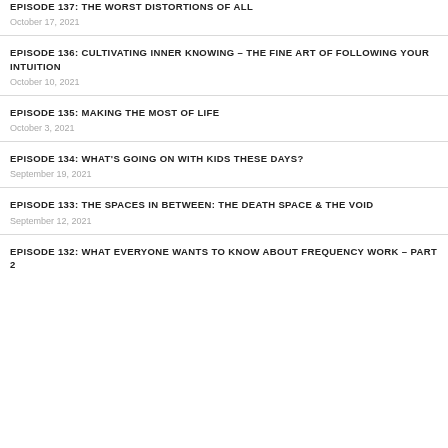EPISODE 137: THE WORST DISTORTIONS OF ALL
October 17, 2021
EPISODE 136: CULTIVATING INNER KNOWING – THE FINE ART OF FOLLOWING YOUR INTUITION
October 10, 2021
EPISODE 135: MAKING THE MOST OF LIFE
October 3, 2021
EPISODE 134: WHAT'S GOING ON WITH KIDS THESE DAYS?
September 19, 2021
EPISODE 133: THE SPACES IN BETWEEN: THE DEATH SPACE & THE VOID
September 12, 2021
EPISODE 132: WHAT EVERYONE WANTS TO KNOW ABOUT FREQUENCY WORK – PART 2